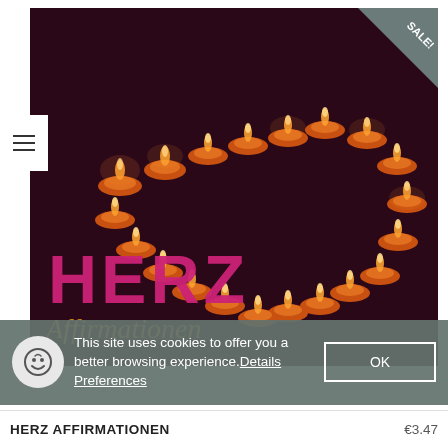[Figure (photo): Product image showing tea light candles arranged in the shape of a heart on a dark burgundy/purple background. Text 'HERZ' in large pink/magenta letters and 'Affirmationen' in gold italic script overlaid at the bottom of the image. A 'SALE!' ribbon badge appears in the top-right corner.]
This site uses cookies to offer you a better browsing experience. Details Preferences
OK
HERZ AFFIRMATIONEN
€3.47